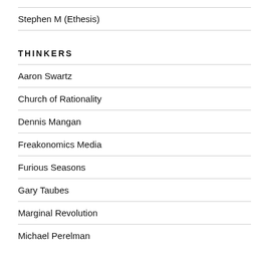Stephen M (Ethesis)
THINKERS
Aaron Swartz
Church of Rationality
Dennis Mangan
Freakonomics Media
Furious Seasons
Gary Taubes
Marginal Revolution
Michael Perelman